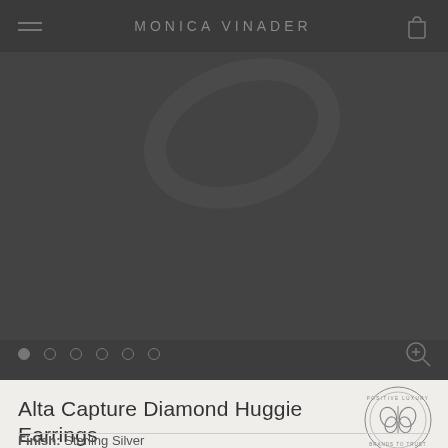MONICA VINADER
[Figure (photo): Product photo of Alta Capture Diamond Huggie Earrings in sterling silver, shown on a dark grey background]
Alta Capture Diamond Huggie Earrings
Sterling Silver
AU$360
Finish: Sterling Silver